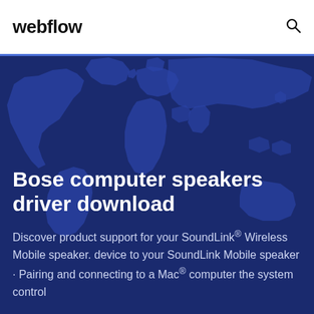webflow
[Figure (illustration): Dark blue hero banner with a world map illustration in the background, overlaid with text about Bose computer speakers driver download.]
Bose computer speakers driver download
Discover product support for your SoundLink® Wireless Mobile speaker. device to your SoundLink Mobile speaker · Pairing and connecting to a Mac® computer the system control